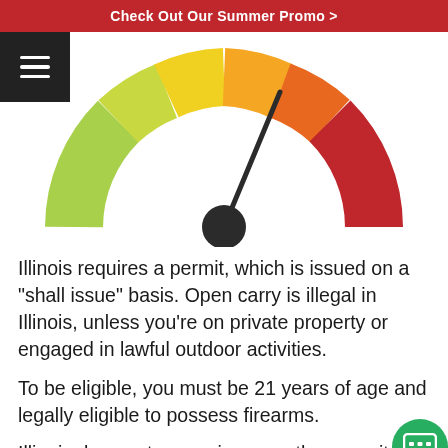Check Out Our Summer Promo >
[Figure (infographic): Semicircular gauge/speedometer graphic colored from green (left) through yellow, orange, to red (right). A dark needle points roughly to the orange-red zone (upper right area). Below the needle is a dark circular pivot point.]
Illinois requires a permit, which is issued on a "shall issue" basis. Open carry is illegal in Illinois, unless you're on private property or engaged in lawful outdoor activities.
To be eligible, you must be 21 years of age and legally eligible to possess firearms.
Illinois does not recognize any other permits...